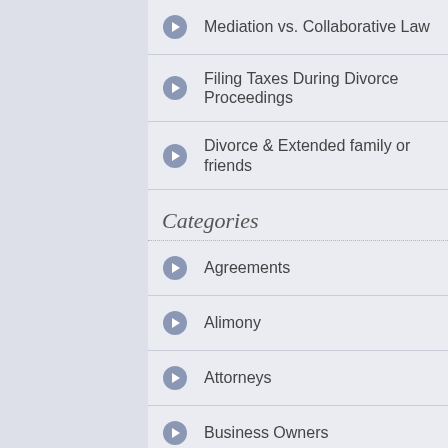Mediation vs. Collaborative Law
Filing Taxes During Divorce Proceedings
Divorce & Extended family or friends
Categories
Agreements
Alimony
Attorneys
Business Owners
Child Support
Cohabitation
Collaborative Divorce